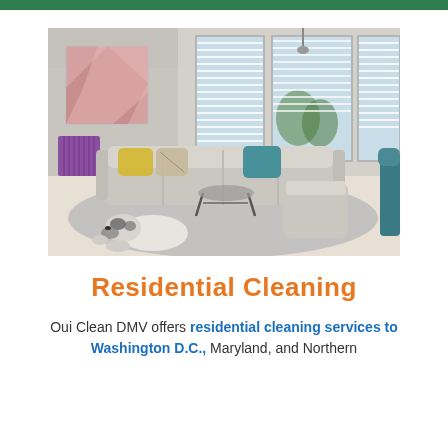[Figure (photo): A bright modern living room with a large L-shaped gray sectional sofa with colorful pillows (yellow, teal, patterned), a purple radiator on the left wall, a pink abstract painting above it, large windows with white venetian blinds letting in natural light, a gray area rug, a black metal coffee table, a teal chair partially visible on the right, and a white fluffy dog lying on the rug in the foreground.]
Residential Cleaning
Oui Clean DMV offers residential cleaning services to Washington D.C., Maryland, and Northern